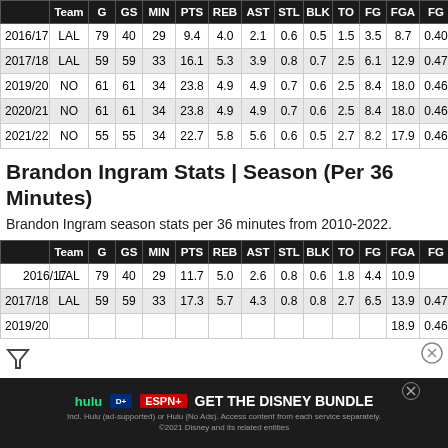|  | Team | G | GS | MIN | PTS | REB | AST | STL | BLK | TO | FG | FGA | FG% |
| --- | --- | --- | --- | --- | --- | --- | --- | --- | --- | --- | --- | --- | --- |
| 2016/17 | LAL | 79 | 40 | 29 | 9.4 | 4.0 | 2.1 | 0.6 | 0.5 | 1.5 | 3.5 | 8.7 | 0.40 |
| 2017/18 | LAL | 59 | 59 | 33 | 16.1 | 5.3 | 3.9 | 0.8 | 0.7 | 2.5 | 6.1 | 12.9 | 0.47 |
| 2019/20 | NO | 61 | 61 | 34 | 23.8 | 4.9 | 4.9 | 0.7 | 0.6 | 2.5 | 8.4 | 18.0 | 0.46 |
| 2020/21 | NO | 61 | 61 | 34 | 23.8 | 4.9 | 4.9 | 0.7 | 0.6 | 2.5 | 8.4 | 18.0 | 0.46 |
| 2021/22 | NO | 55 | 55 | 34 | 22.7 | 5.8 | 5.6 | 0.6 | 0.5 | 2.7 | 8.2 | 17.9 | 0.46 |
Brandon Ingram Stats | Season (Per 36 Minutes)
Brandon Ingram season stats per 36 minutes from 2010-2022.
|  | Team | G | GS | MIN | PTS | REB | AST | STL | BLK | TO | FG | FGA | FG% |
| --- | --- | --- | --- | --- | --- | --- | --- | --- | --- | --- | --- | --- | --- |
| 2016/17 | LAL | 79 | 40 | 29 | 11.7 | 5.0 | 2.6 | 0.8 | 0.6 | 1.8 | 4.4 | 10.9 |  |
| 2017/18 | LAL | 59 | 59 | 33 | 17.3 | 5.7 | 4.3 | 0.8 | 0.8 | 2.7 | 6.5 | 13.9 | 0.47 |
| 2019/20 |  |  |  |  |  |  |  |  |  |  |  | 18.9 | 0.46 |
[Figure (infographic): Advertisement overlay for Disney Bundle (Hulu, Disney+, ESPN+)]